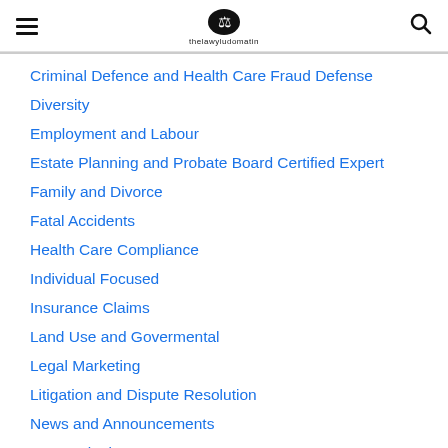thelawyludomatin (logo)
Criminal Defence and Health Care Fraud Defense
Diversity
Employment and Labour
Estate Planning and Probate Board Certified Expert
Family and Divorce
Fatal Accidents
Health Care Compliance
Individual Focused
Insurance Claims
Land Use and Govermental
Legal Marketing
Litigation and Dispute Resolution
News and Announcements
Personal Injury
Practices and Industry Areas
Private Client Service